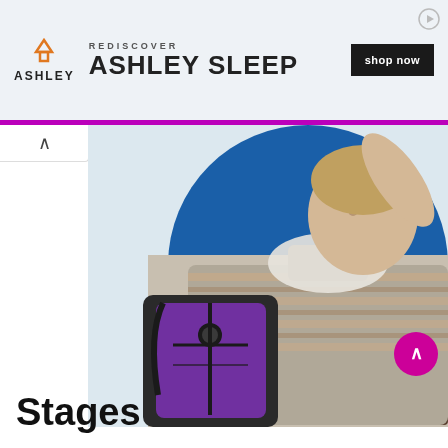[Figure (photo): Ashley Furniture advertisement banner showing Ashley Sleep logo with house icon and 'REDISCOVER ASHLEY SLEEP' text and 'shop now' button]
[Figure (photo): Photo of a young boy wearing a striped shirt and neck brace, carrying a backpack with a blue circular background]
Stages